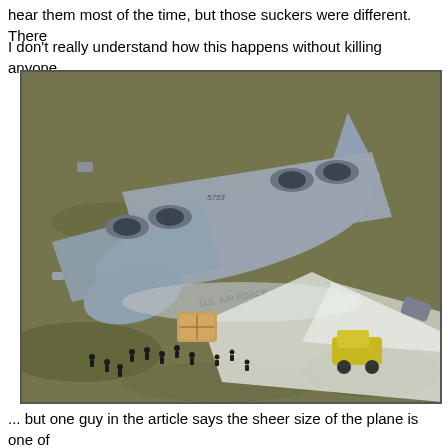hear them most of the time, but those suckers were different.  There
I don't really understand how this happens without killing anyone...
[Figure (photo): Aerial photograph of a crashed U.S. Air Force large military cargo aircraft (appears to be a C-5 Galaxy) on a grassy field. The plane is heavily damaged, broken apart, with foam/fire suppression material sprayed around it. Emergency vehicles and personnel visible on the ground surrounding the wreckage.]
... but one guy in the article says the sheer size of the plane is one of
crew from a worse fate.